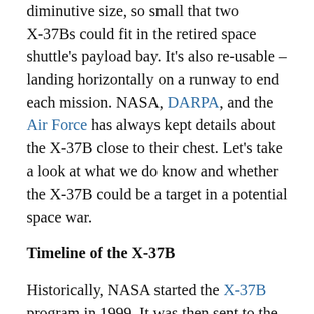diminutive size, so small that two X-37Bs could fit in the retired space shuttle's payload bay. It's also re-usable – landing horizontally on a runway to end each mission. NASA, DARPA, and the Air Force has always kept details about the X-37B close to their chest. Let's take a look at what we do know and whether the X-37B could be a target in a potential space war.
Timeline of the X-37B
Historically, NASA started the X-37B program in 1999. It was then sent to the U.S. military in 2004, headed by DARPA, the secretive agency for research and development on cutting